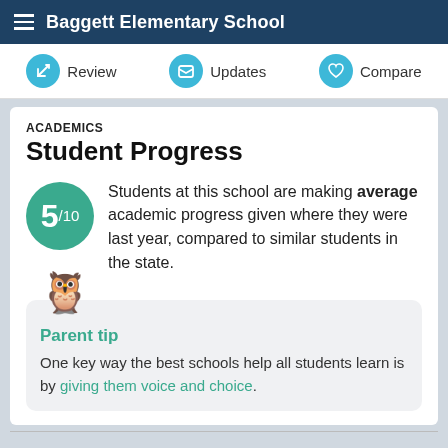Baggett Elementary School
Review  Updates  Compare
ACADEMICS
Student Progress
Students at this school are making average academic progress given where they were last year, compared to similar students in the state.
Parent tip
One key way the best schools help all students learn is by giving them voice and choice.